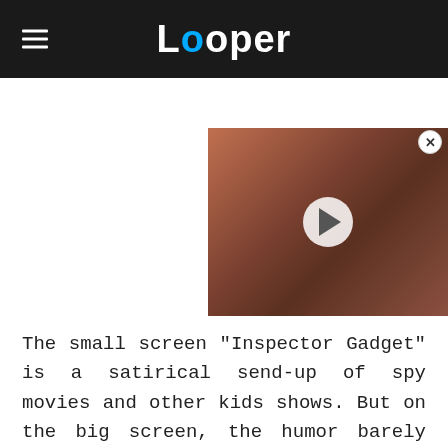Looper
[Figure (screenshot): Video thumbnail showing a man with disheveled appearance, reddish tones, with a play button overlay in the center]
The small screen "Inspector Gadget" is a satirical send-up of spy movies and other kids shows. But on the big screen, the humor barely works. It's too juvenile for the show's now-adult fans, yet too dumb to entertain the kids in the audience. What results is a special effects-laden bore full of unimpressive